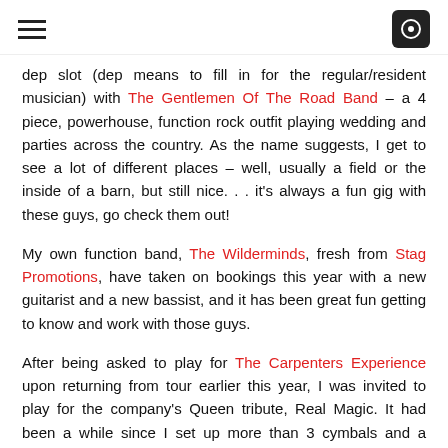[hamburger menu icon] [search/logo icon]
dep slot (dep means to fill in for the regular/resident musician) with The Gentlemen Of The Road Band – a 4 piece, powerhouse, function rock outfit playing wedding and parties across the country. As the name suggests, I get to see a lot of different places – well, usually a field or the inside of a barn, but still nice. . . it's always a fun gig with these guys, go check them out!
My own function band, The Wilderminds, fresh from Stag Promotions, have taken on bookings this year with a new guitarist and a new bassist, and it has been great fun getting to know and work with those guys.
After being asked to play for The Carpenters Experience upon returning from tour earlier this year, I was invited to play for the company's Queen tribute, Real Magic. It had been a while since I set up more than 3 cymbals and a double kick pedal! Queen is one of my favourite bands, so it was a pleasure to